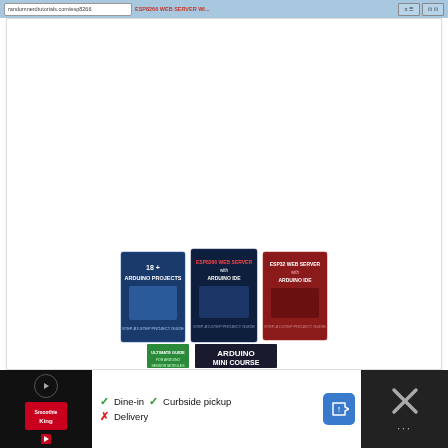Browser navigation bar with URL and tab controls
[Figure (screenshot): Three book covers for Arduino and ESP projects: '18+ Arduino Projects', 'ESP8266 Web Server with Arduino IDE', 'ESP32 Web Server with Arduino IDE', with two smaller books below showing 'Ultimate Guide for Arduino Sensor Modules' and 'Arduino Mini Course']
[Figure (screenshot): Advertisement bar at bottom: Smoothies King restaurant ad showing Dine-in, Curbside pickup available, Delivery crossed out, with play button, navigation arrow icon, and close button]